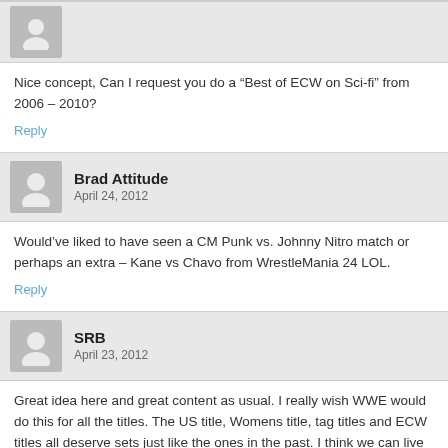Nice concept, Can I request you do a “Best of ECW on Sci-fi” from 2006 – 2010?
Reply
Brad Attitude
April 24, 2012
Would’ve liked to have seen a CM Punk vs. Johnny Nitro match or perhaps an extra – Kane vs Chavo from WrestleMania 24 LOL.
Reply
SRB
April 23, 2012
Great idea here and great content as usual. I really wish WWE would do this for all the titles. The US title, Womens title, tag titles and ECW titles all deserve sets just like the ones in the past. I think we can live without the Hardcore title though.